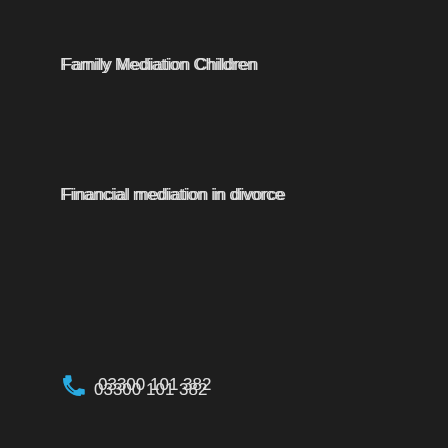Family Mediation Children
Financial mediation in divorce
03300 101 382
[Figure (other): Social media icons: Facebook, Twitter, YouTube]
Miam Mediation for divorce
Commercial Local Mediators child access